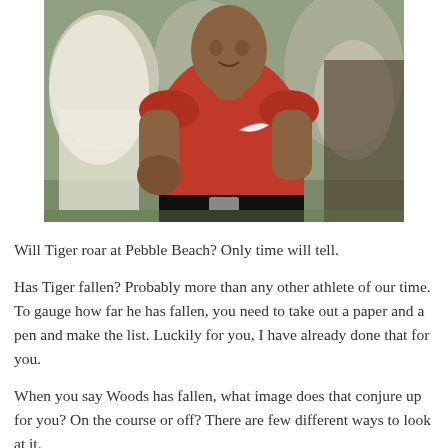[Figure (photo): A man wearing a red Nike t-shirt with dark pants, pumping his fist in a celebratory gesture, with a crowd visible in the blurred background.]
Will Tiger roar at Pebble Beach? Only time will tell.
Has Tiger fallen? Probably more than any other athlete of our time. To gauge how far he has fallen, you need to take out a paper and a pen and make the list. Luckily for you, I have already done that for you.
When you say Woods has fallen, what image does that conjure up for you? On the course or off? There are few different ways to look at it.